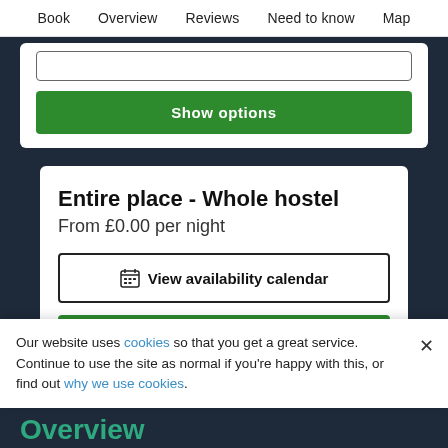Book   Overview   Reviews   Need to know   Map
[Figure (screenshot): Green 'Show options' button on white card background]
Entire place - Whole hostel
From £0.00 per night
View availability calendar
[Figure (screenshot): Green 'Show options' button]
Our website uses cookies so that you get a great service. Continue to use the site as normal if you're happy with this, or find out why we use cookies.
Overview